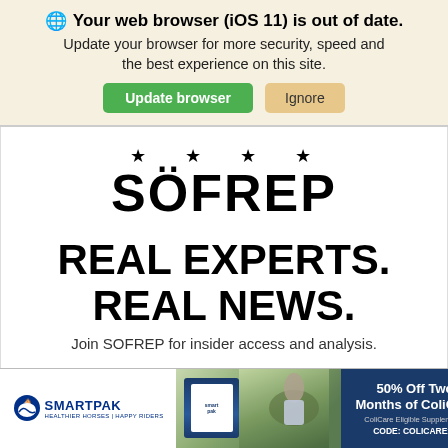Your web browser (iOS 11) is out of date. Update your browser for more security, speed and the best experience on this site.
Update browser | Ignore
[Figure (logo): SOFREP logo with four stars above text]
REAL EXPERTS. REAL NEWS.
Join SOFREP for insider access and analysis.
[Figure (infographic): SmartPak advertisement banner: 50% Off Two Months of ColiCare, ColiCare Eligible Supplements, CODE: COLICARE10, Shop Now]